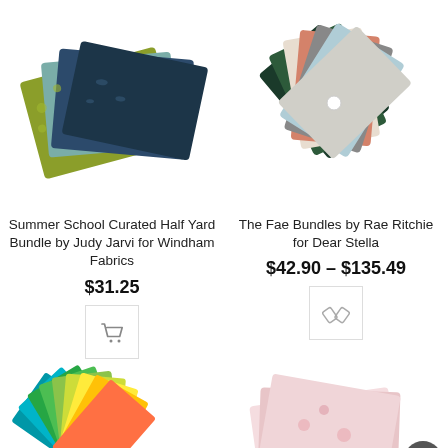[Figure (photo): Stack of fabric fat quarters in olive green, teal, and dark navy floral patterns - Summer School Curated Half Yard Bundle]
[Figure (photo): Fan arrangement of fabric fat quarters in dark green, floral, plaid, pink, and grey patterns - The Fae Bundles]
Summer School Curated Half Yard Bundle by Judy Jarvi for Windham Fabrics
The Fae Bundles by Rae Ritchie for Dear Stella
$31.25
$42.90 – $135.49
[Figure (illustration): Shopping cart icon button]
[Figure (illustration): Paperclip/link icon button]
[Figure (photo): Fan of bright teal, green, yellow and orange fabric quarters]
[Figure (photo): Stack of pink and floral fabric quarters]